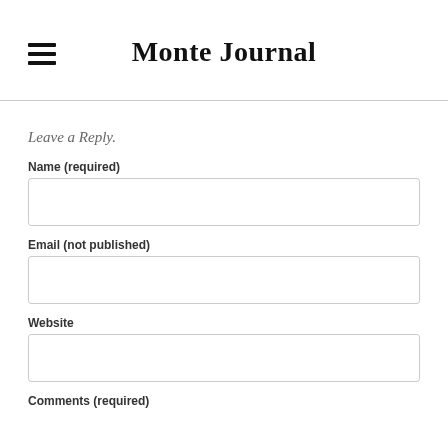Monte Journal
Leave a Reply.
Name (required)
Email (not published)
Website
Comments (required)